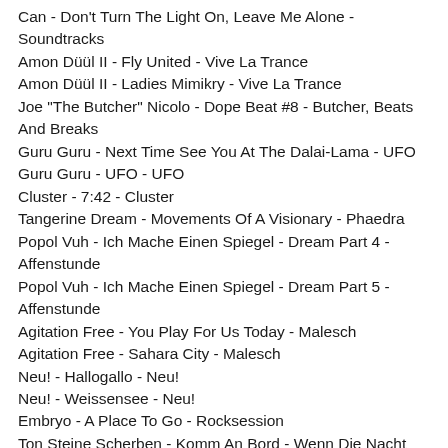Can - Don't Turn The Light On, Leave Me Alone - Soundtracks
Amon Düül II - Fly United - Vive La Trance
Amon Düül II - Ladies Mimikry - Vive La Trance
Joe "The Butcher" Nicolo - Dope Beat #8 - Butcher, Beats And Breaks
Guru Guru - Next Time See You At The Dalai-Lama - UFO
Guru Guru - UFO - UFO
Cluster - 7:42 - Cluster
Tangerine Dream - Movements Of A Visionary - Phaedra
Popol Vuh - Ich Mache Einen Spiegel - Dream Part 4 - Affenstunde
Popol Vuh - Ich Mache Einen Spiegel - Dream Part 5 - Affenstunde
Agitation Free - You Play For Us Today - Malesch
Agitation Free - Sahara City - Malesch
Neu! - Hallogallo - Neu!
Neu! - Weissensee - Neu!
Embryo - A Place To Go - Rocksession
Ton Steine Scherben - Komm An Bord - Wenn Die Nacht Am Tiefsten ...